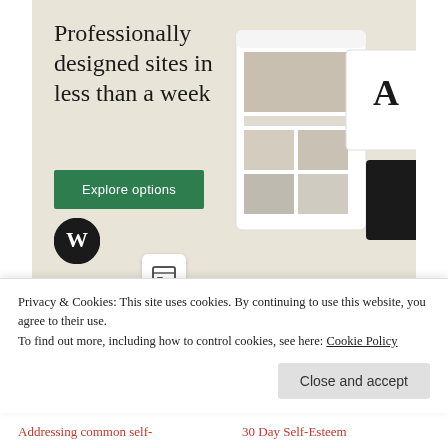[Figure (illustration): WordPress advertisement banner with text 'Professionally designed sites in less than a week', green 'Explore options' button, WordPress logo, and mockup screenshots of website templates on a beige/cream background.]
REPORT THIS AD
SHARE THIS:
[Figure (illustration): Twitter share button (blue circle with bird icon), Facebook share button (blue circle with F icon), and 'More' button with share icon]
Privacy & Cookies: This site uses cookies. By continuing to use this website, you agree to their use.
To find out more, including how to control cookies, see here: Cookie Policy
Close and accept
Addressing common self-
30 Day Self-Esteem